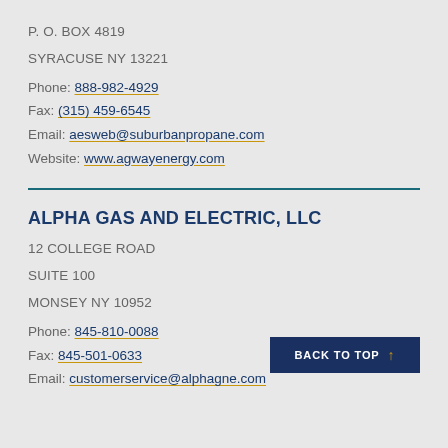P. O. BOX 4819
SYRACUSE NY 13221
Phone: 888-982-4929
Fax: (315) 459-6545
Email: aesweb@suburbanpropane.com
Website: www.agwayenergy.com
ALPHA GAS AND ELECTRIC, LLC
12 COLLEGE ROAD
SUITE 100
MONSEY NY 10952
Phone: 845-810-0088
Fax: 845-501-0633
Email: customerservice@alphagne.com